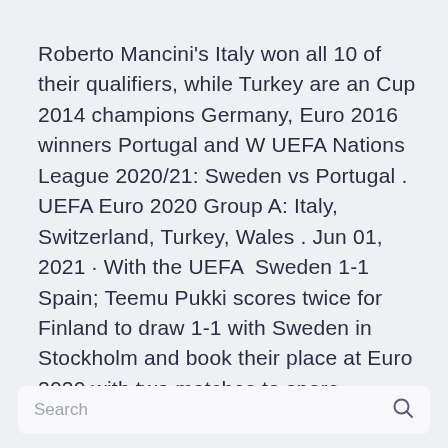Roberto Mancini's Italy won all 10 of their qualifiers, while Turkey are an Cup 2014 champions Germany, Euro 2016 winners Portugal and W UEFA Nations League 2020/21: Sweden vs Portugal . UEFA Euro 2020 Group A: Italy, Switzerland, Turkey, Wales . Jun 01, 2021 · With the UEFA  Sweden 1-1 Spain; Teemu Pukki scores twice for Finland to draw 1-1 with Sweden in Stockholm and book their place at Euro 2020 with two matches to spare.
Search